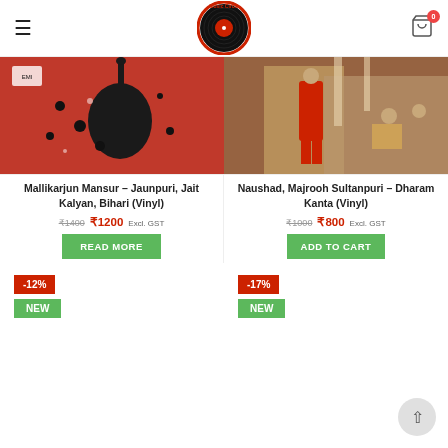Music Circle – Fine & Rare Collection of Gramophone Records
[Figure (logo): Music Circle logo – vinyl record with red label, circular red text reading 'Music Circle Fine & Rare Collection of Gramophone Records']
[Figure (photo): Album cover for Mallikarjun Mansur – Jaunpuri, Jait Kalyan, Bihari (Vinyl): red background with sitar instrument]
[Figure (photo): Album cover for Naushad, Majrooh Sultanpuri – Dharam Kanta (Vinyl): movie scene with actors]
Mallikarjun Mansur – Jaunpuri, Jait Kalyan, Bihari (Vinyl)
₹1400 ₹1200 Excl. GST
READ MORE
Naushad, Majrooh Sultanpuri – Dharam Kanta (Vinyl)
₹1000 ₹800 Excl. GST
ADD TO CART
-12%
NEW
-17%
NEW